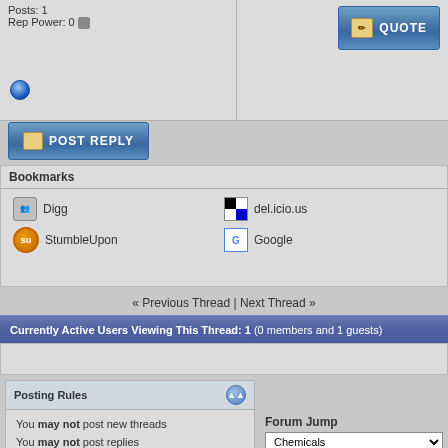Posts: 1
Rep Power: 0
Bookmarks
Digg
del.icio.us
StumbleUpon
Google
« Previous Thread | Next Thread »
Currently Active Users Viewing This Thread: 1 (0 members and 1 guests)
Posting Rules
You may not post new threads
You may not post replies
You may not post attachments
You may not edit your posts
BB code is On
Smilies are On
[IMG] code is On
HTML code is Off
Forum Jump
Chemicals